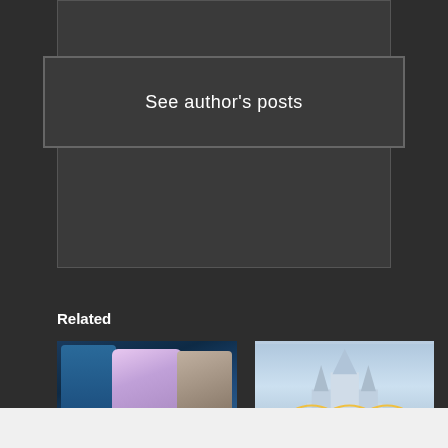See author's posts
Related
[Figure (photo): D23 Expo Disneyland Paris Predictions promotional image with Avatar, Frozen, and Star Wars characters with yellow banner text reading DISNEYLAND PARIS PREDICTIONS]
D23 Predictions for Disneyland Paris
July 25, 2022
In "Disney"
[Figure (photo): Disneyland castle image showing Sleeping Beauty Castle in winter/blue tones with decorative bunting]
Disney Parks Records $74 Billion Revenue in Q3 of 2022
August 10, 2022
In "Disney Parks and